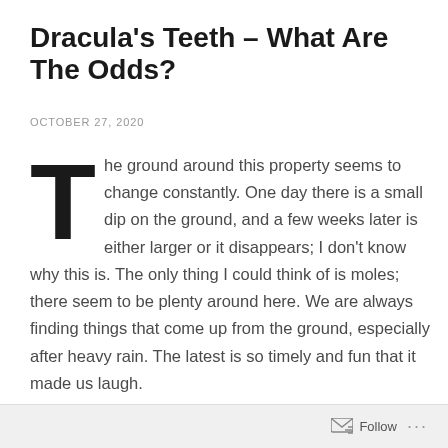Dracula's Teeth – What Are The Odds?
OCTOBER 27, 2020
The ground around this property seems to change constantly. One day there is a small dip on the ground, and a few weeks later is either larger or it disappears; I don't know why this is. The only thing I could think of is moles; there seem to be plenty around here. We are always finding things that come up from the ground, especially after heavy rain. The latest is so timely and fun that it made us laugh.
Follow